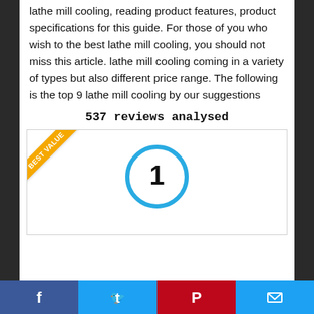lathe mill cooling, reading product features, product specifications for this guide. For those of you who wish to the best lathe mill cooling, you should not miss this article. lathe mill cooling coming in a variety of types but also different price range. The following is the top 9 lathe mill cooling by our suggestions
537 reviews analysed
[Figure (infographic): Product card with a 'BEST VALUE' ribbon in the top-left corner and a blue circle containing the number 1 in the center.]
Social share bar with Facebook, Twitter, Pinterest, and Email icons